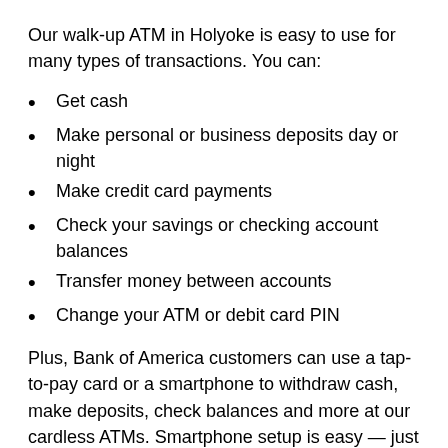Our walk-up ATM in Holyoke is easy to use for many types of transactions. You can:
Get cash
Make personal or business deposits day or night
Make credit card payments
Check your savings or checking account balances
Transfer money between accounts
Change your ATM or debit card PIN
Plus, Bank of America customers can use a tap-to-pay card or a smartphone to withdraw cash, make deposits, check balances and more at our cardless ATMs. Smartphone setup is easy — just add your debit card to your digital wallet. To use your digital wallet at one of our ATMs in Holyoke, select your Bank of America debit card from your digital wallet, hold your phone to the contactless reader, enter your PIN and start your transaction.
Our convenient, on-the-go banking ATMs in Holyoke also provide instructions in several languages, including English,